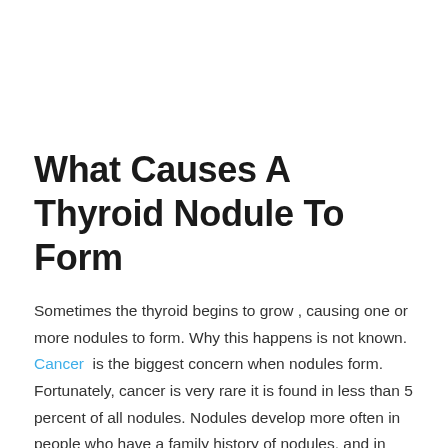What Causes A Thyroid Nodule To Form
Sometimes the thyroid begins to grow , causing one or more nodules to form. Why this happens is not known. Cancer is the biggest concern when nodules form. Fortunately, cancer is very rare it is found in less than 5 percent of all nodules. Nodules develop more often in people who have a family history of nodules, and in people who dont get enough iodine. Iodine is needed to make thyroid hormone.